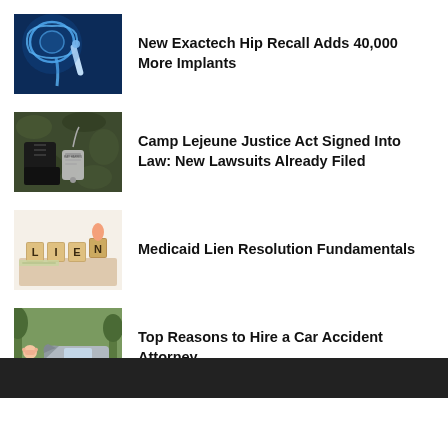[Figure (photo): X-ray image of hip joint with implant on blue background]
New Exactech Hip Recall Adds 40,000 More Implants
[Figure (photo): Military boots and dog tags on camouflage fabric]
Camp Lejeune Justice Act Signed Into Law: New Lawsuits Already Filed
[Figure (photo): Person pointing at wooden letter tiles spelling LIEN]
Medicaid Lien Resolution Fundamentals
[Figure (photo): Man crouching beside crashed car with head in hands]
Top Reasons to Hire a Car Accident Attorney